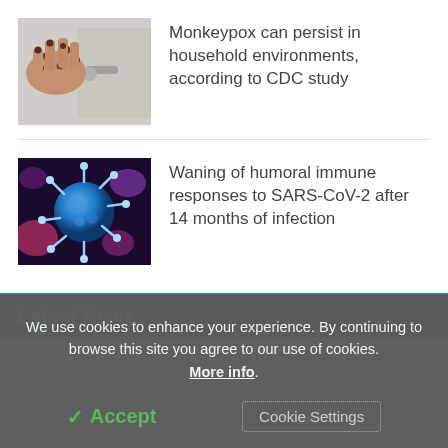[Figure (photo): A hand with monkeypox lesions touching a door handle]
Monkeypox can persist in household environments, according to CDC study
[Figure (photo): Microscopic illustration of a blue coronavirus/SARS-CoV-2 particle against a dark background with other viral particles]
Waning of humoral immune responses to SARS-CoV-2 after 14 months of infection
Latest News
We use cookies to enhance your experience. By continuing to browse this site you agree to our use of cookies. More info.
✓ Accept
Cookie Settings